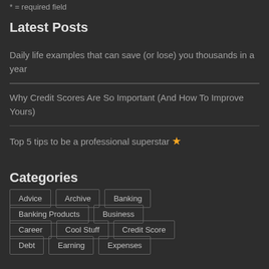* = required field
Latest Posts
Daily life examples that can save (or lose) you thousands in a year
Why Credit Scores Are So Important (And How To Improve Yours)
Top 5 tips to be a professional superstar ★
Categories
Advice
Archive
Banking
Banking Products
Business
Career
Cool Stuff
Credit Score
Debt
Earning
Expenses